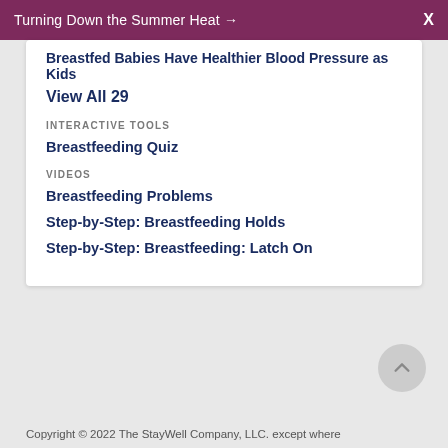Turning Down the Summer Heat →  X
Breastfed Babies Have Healthier Blood Pressure as Kids
View All 29
INTERACTIVE TOOLS
Breastfeeding Quiz
VIDEOS
Breastfeeding Problems
Step-by-Step: Breastfeeding Holds
Step-by-Step: Breastfeeding: Latch On
Copyright © 2022 The StayWell Company, LLC. except where